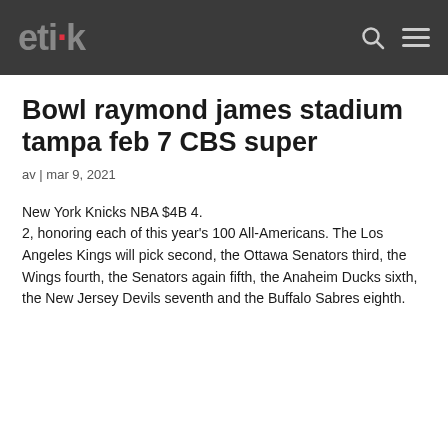etik
Bowl raymond james stadium tampa feb 7 CBS super
av | mar 9, 2021
New York Knicks NBA $4B 4.
2, honoring each of this year's 100 All-Americans. The Los Angeles Kings will pick second, the Ottawa Senators third, the Wings fourth, the Senators again fifth, the Anaheim Ducks sixth, the New Jersey Devils seventh and the Buffalo Sabres eighth.